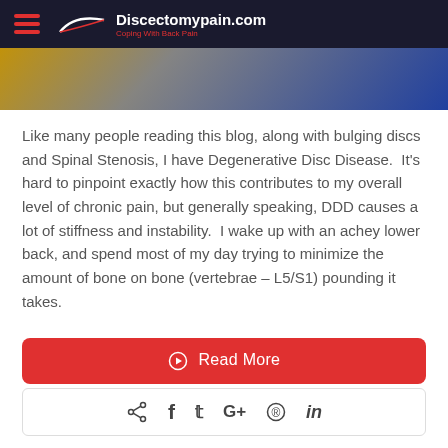Discectomypain.com – Coping With Back Pain
[Figure (photo): Hero/banner image showing partial view of a person, with dark blue, gold and grey tones]
Like many people reading this blog, along with bulging discs and Spinal Stenosis, I have Degenerative Disc Disease. It's hard to pinpoint exactly how this contributes to my overall level of chronic pain, but generally speaking, DDD causes a lot of stiffness and instability. I wake up with an achey lower back, and spend most of my day trying to minimize the amount of bone on bone (vertebrae – L5/S1) pounding it takes.
Read More
[Figure (other): Social sharing bar with share, Facebook, Twitter, Google+, Pinterest, and LinkedIn icons]